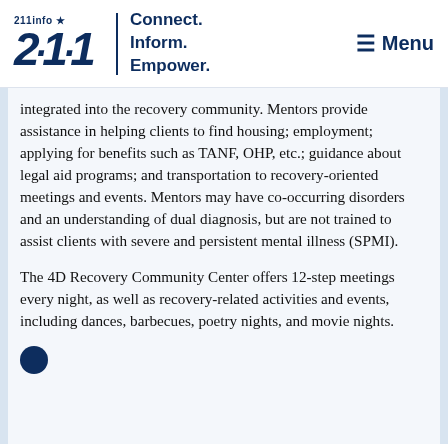[Figure (logo): 211info logo with tagline 'Connect. Inform. Empower.' and Menu button]
integrated into the recovery community. Mentors provide assistance in helping clients to find housing; employment; applying for benefits such as TANF, OHP, etc.; guidance about legal aid programs; and transportation to recovery-oriented meetings and events. Mentors may have co-occurring disorders and an understanding of dual diagnosis, but are not trained to assist clients with severe and persistent mental illness (SPMI).
The 4D Recovery Community Center offers 12-step meetings every night, as well as recovery-related activities and events, including dances, barbecues, poetry nights, and movie nights.